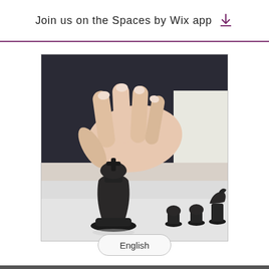Join us on the Spaces by Wix app
[Figure (photo): A hand reaching down to grasp a black chess king piece on a white surface, with other black chess pieces (pawns and a knight) visible in the background. The person is wearing a dark suit with a white shirt.]
English